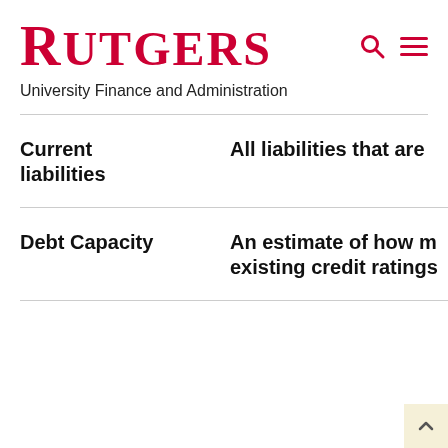RUTGERS
University Finance and Administration
| Term | Definition |
| --- | --- |
| Current liabilities | All liabilities that are |
| Debt Capacity | An estimate of how m existing credit ratings |